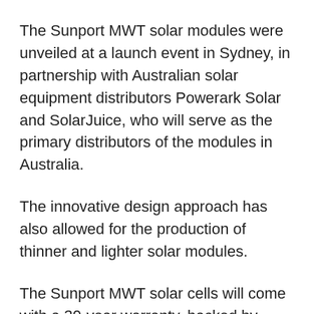The Sunport MWT solar modules were unveiled at a launch event in Sydney, in partnership with Australian solar equipment distributors Powerark Solar and SolarJuice, who will serve as the primary distributors of the modules in Australia.
The innovative design approach has also allowed for the production of thinner and lighter solar modules.
The Sunport MWT solar cells will come with a 30-year warranty, backed by global insurer Lloyds, which has recognised improvements in the robustness of the solar cells that have been achieved through the ‘metal wrap through’ design approach.